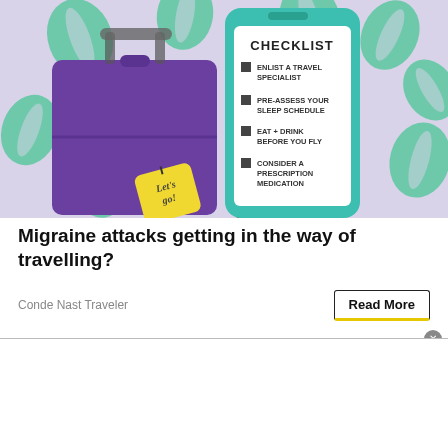[Figure (illustration): Illustration of a person holding a smartphone with a checklist screen. The checklist reads: CHECKLIST, ENLIST A TRAVEL SPECIALIST, PRE-ASSESS YOUR SLEEP SCHEDULE, EAT + DRINK BEFORE YOU FLY, CONSIDER A PRESCRIPTION MEDICATION. Beside it is a purple suitcase with a yellow luggage tag that says 'Let's go!' The background has teal/green tropical leaf pattern on a lavender background.]
Migraine attacks getting in the way of travelling?
Conde Nast Traveler
Read More